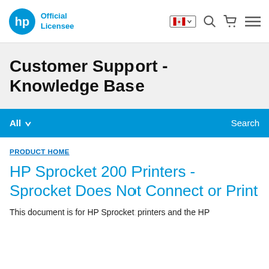HP Official Licensee
Customer Support - Knowledge Base
All  Search
PRODUCT HOME
HP Sprocket 200 Printers - Sprocket Does Not Connect or Print
This document is for HP Sprocket printers and the HP...